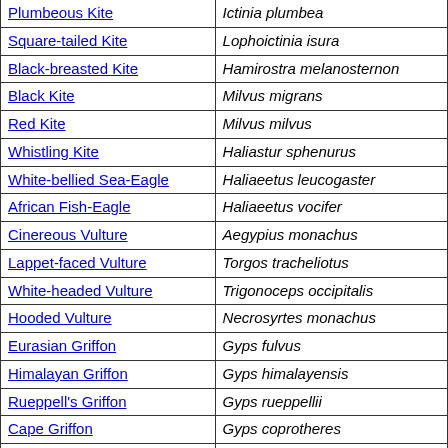| Common Name | Scientific Name |
| --- | --- |
| Plumbeous Kite | Ictinia plumbea |
| Square-tailed Kite | Lophoictinia isura |
| Black-breasted Kite | Hamirostra melanosternon |
| Black Kite | Milvus migrans |
| Red Kite | Milvus milvus |
| Whistling Kite | Haliastur sphenurus |
| White-bellied Sea-Eagle | Haliaeetus leucogaster |
| African Fish-Eagle | Haliaeetus vocifer |
| Cinereous Vulture | Aegypius monachus |
| Lappet-faced Vulture | Torgos tracheliotus |
| White-headed Vulture | Trigonoceps occipitalis |
| Hooded Vulture | Necrosyrtes monachus |
| Eurasian Griffon | Gyps fulvus |
| Himalayan Griffon | Gyps himalayensis |
| Rueppell's Griffon | Gyps rueppellii |
| Cape Griffon | Gyps coprotheres |
| White-backed Vulture | Gyps africanus |
| Egyptian Vulture | Neophron percnopterus |